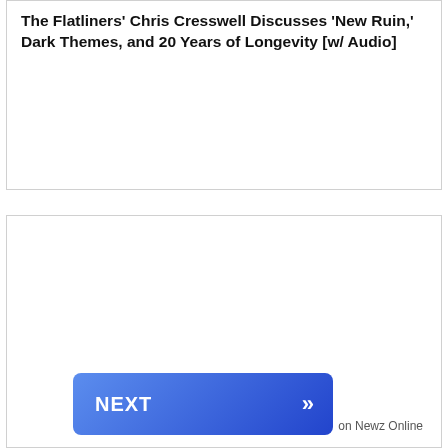The Flatliners' Chris Cresswell Discusses 'New Ruin,' Dark Themes, and 20 Years of Longevity [w/ Audio]
[Figure (other): A NEXT navigation button with double chevron arrows on a blue gradient background, and 'on Newz Online' label at bottom right]